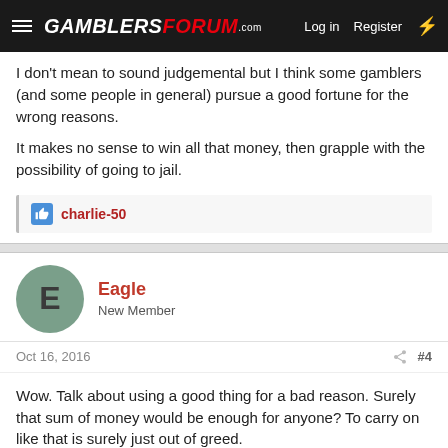GamblersForum.com  Log in  Register
I don't mean to sound judgemental but I think some gamblers (and some people in general) pursue a good fortune for the wrong reasons.

It makes no sense to win all that money, then grapple with the possibility of going to jail.
👍 charlie-50
Eagle
New Member
Oct 16, 2016  #4
Wow. Talk about using a good thing for a bad reason. Surely that sum of money would be enough for anyone? To carry on like that is surely just out of greed.
sharrus